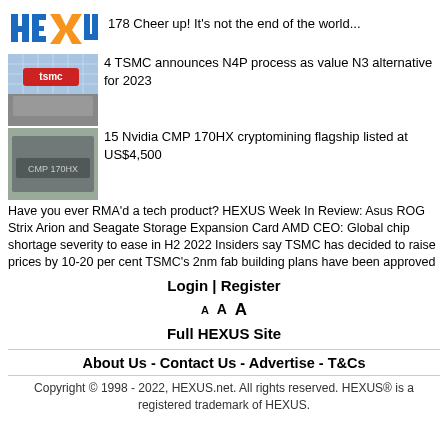[Figure (logo): HEXUS logo with orange X]
178 Cheer up! It's not the end of the world...
[Figure (photo): TSMC building exterior with TSMC logo sign]
4 TSMC announces N4P process as value N3 alternative for 2023
[Figure (photo): Nvidia CMP 170HX mining card with label]
15 Nvidia CMP 170HX cryptomining flagship listed at US$4,500
Have you ever RMA'd a tech product? HEXUS Week In Review: Asus ROG Strix Arion and Seagate Storage Expansion Card AMD CEO: Global chip shortage severity to ease in H2 2022 Insiders say TSMC has decided to raise prices by 10-20 per cent TSMC's 2nm fab building plans have been approved
Login | Register
A A A
Full HEXUS Site
About Us - Contact Us - Advertise - T&Cs
Copyright © 1998 - 2022, HEXUS.net. All rights reserved. HEXUS® is a registered trademark of HEXUS.